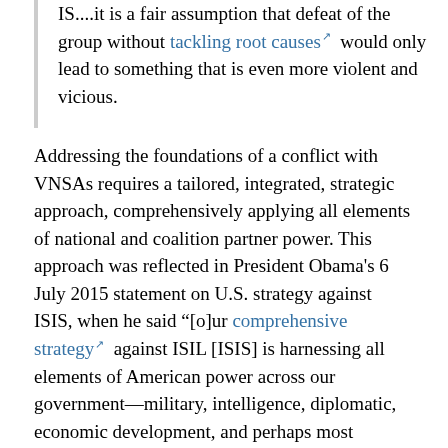IS....it is a fair assumption that defeat of the group without tackling root causes [external link] would only lead to something that is even more violent and vicious.
Addressing the foundations of a conflict with VNSAs requires a tailored, integrated, strategic approach, comprehensively applying all elements of national and coalition partner power. This approach was reflected in President Obama's 6 July 2015 statement on U.S. strategy against ISIS, when he said “[o]ur comprehensive strategy [external link] against ISIL [ISIS] is harnessing all elements of American power across our government—military, intelligence, diplomatic, economic development, and perhaps most importantly the power of our values.” But how can the strategy succeed without the sustained public support at home and in the conflict area?
To enable a sustainable, long-term campaign that gains and maintains public support, the U.S. military must